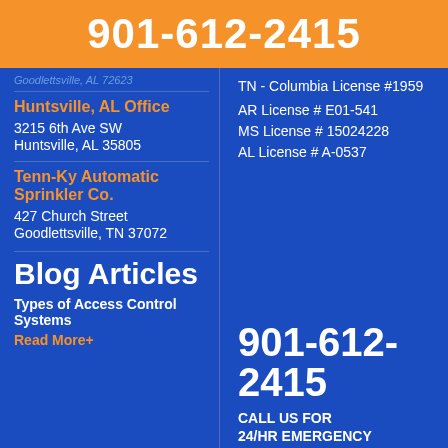901-612-2415
Goodlettsville, AL 72623
Huntsville, AL Office
3215 6th Ave SW
Huntsville, AL 35805
Tenn-Ky Automatic Sprinkler Co.
427 Church Street
Goodlettsville, TN 37072
TN - Columbia License #1959
AR License # E01-541
MS License # 15024228
AL License # A-0537
Blog Articles
Types of Access Control Systems
Read More+
901-612-2415
CALL US FOR
24/HR EMERGENCY